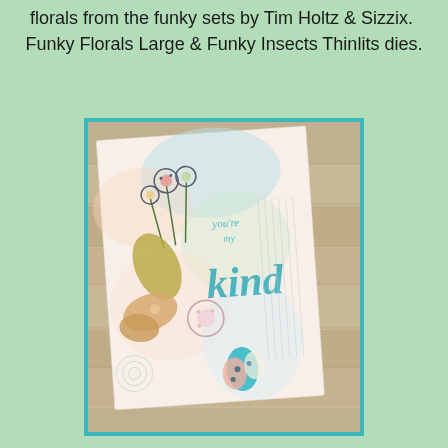florals from the funky sets by Tim Holtz & Sizzix.  Funky Florals Large & Funky Insects Thinlits dies.
[Figure (photo): A handmade craft card featuring funky floral and insect die-cuts by Tim Holtz & Sizzix, with a mixed-media watercolor background. The card displays decorative flowers, a butterfly, ladybug/beetle shapes, and the text 'you're my kind' in teal script lettering. The card rests on a rustic wood surface.]